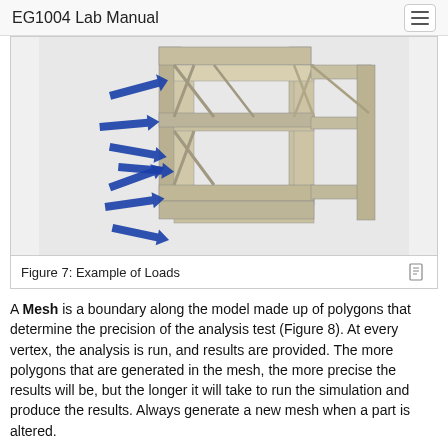EG1004 Lab Manual
[Figure (engineering-diagram): 3D CAD model of a structural truss/frame with blue arrows indicating applied loads at various points on the left and bottom faces of the structure.]
Figure 7: Example of Loads
A Mesh is a boundary along the model made up of polygons that determine the precision of the analysis test (Figure 8). At every vertex, the analysis is run, and results are provided. The more polygons that are generated in the mesh, the more precise the results will be, but the longer it will take to run the simulation and produce the results. Always generate a new mesh when a part is altered.